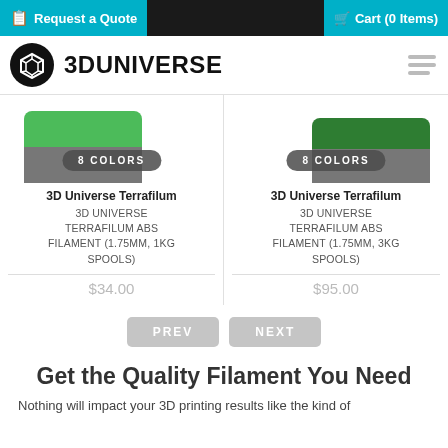Request a Quote | Cart (0 Items)
[Figure (logo): 3D Universe logo with circular icon and wordmark]
8 COLORS
3D Universe Terrafilum
3D UNIVERSE TERRAFILUM ABS FILAMENT (1.75MM, 1KG SPOOLS)
$34.00
8 COLORS
3D Universe Terrafilum
3D UNIVERSE TERRAFILUM ABS FILAMENT (1.75MM, 3KG SPOOLS)
$95.00
PREV  NEXT
Get the Quality Filament You Need
Nothing will impact your 3D printing results like the kind of